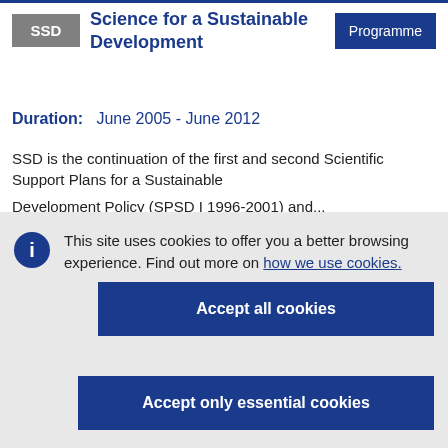SSD Science for a Sustainable Development Programme
Duration: June 2005 - June 2012
SSD is the continuation of the first and second Scientific Support Plans for a Sustainable Development Policy (SPSD I 1996-2001) and...
This site uses cookies to offer you a better browsing experience. Find out more on how we use cookies.
Accept all cookies
Accept only essential cookies